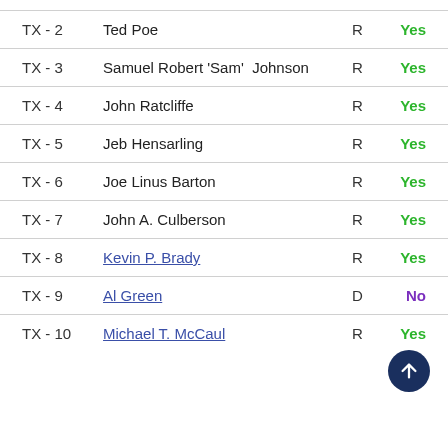| District | Name | Party | Vote |
| --- | --- | --- | --- |
| TX - 2 | Ted Poe | R | Yes |
| TX - 3 | Samuel Robert 'Sam' Johnson | R | Yes |
| TX - 4 | John Ratcliffe | R | Yes |
| TX - 5 | Jeb Hensarling | R | Yes |
| TX - 6 | Joe Linus Barton | R | Yes |
| TX - 7 | John A. Culberson | R | Yes |
| TX - 8 | Kevin P. Brady | R | Yes |
| TX - 9 | Al Green | D | No |
| TX - 10 | Michael T. McCaul | R | Yes |